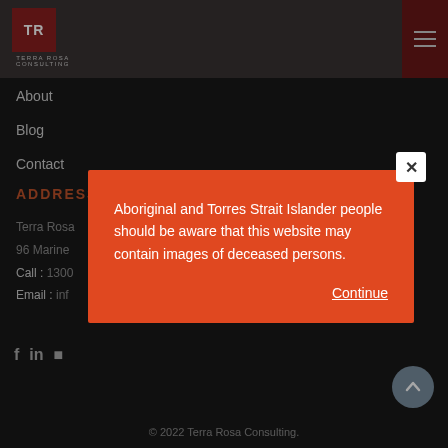[Figure (logo): Terra Rosa Consulting logo: TR in white text on dark red square, with TERRA ROSA CONSULTING text below]
About
Blog
Contact
ADDRESS
Terra Rosa
96 Marine
Call : 1300
Email : inf
Aboriginal and Torres Strait Islander people should be aware that this website may contain images of deceased persons.
Continue
© 2022 Terra Rosa Consulting.